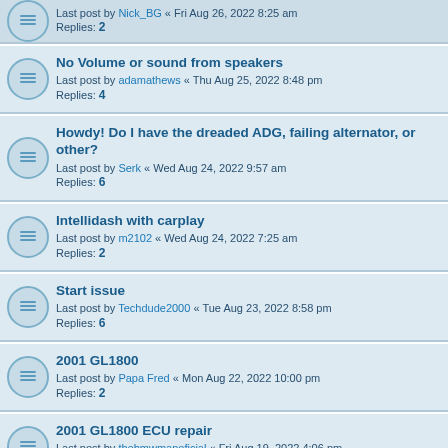Last post by Nick_BG « Fri Aug 26, 2022 8:25 am
Replies: 2
No Volume or sound from speakers
Last post by adamathews « Thu Aug 25, 2022 8:48 pm
Replies: 4
Howdy! Do I have the dreaded ADG, failing alternator, or other?
Last post by Serk « Wed Aug 24, 2022 9:57 am
Replies: 6
Intellidash with carplay
Last post by m2102 « Wed Aug 24, 2022 7:25 am
Replies: 2
Start issue
Last post by Techdude2000 « Tue Aug 23, 2022 8:58 pm
Replies: 6
2001 GL1800
Last post by Papa Fred « Mon Aug 22, 2022 10:00 pm
Replies: 2
2001 GL1800 ECU repair
Last post by thebmwmanoficial « Fri Aug 19, 2022 4:06 pm
Replies: 9
A different Start Issue
Last post by Piddler « Thu Aug 18, 2022 10:18 pm
Replies: 7